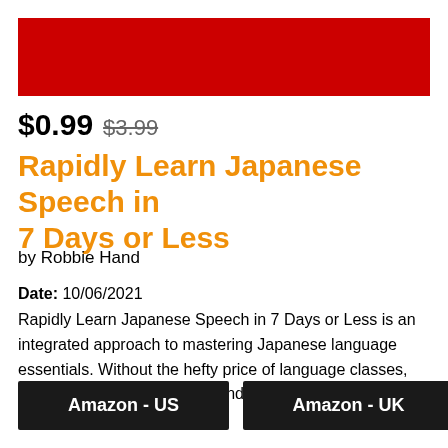[Figure (other): Red banner/header image at top of listing]
$0.99 $3.99
Rapidly Learn Japanese Speech in 7 Days or Less
by Robbie Hand
Date: 10/06/2021
Rapidly Learn Japanese Speech in 7 Days or Less is an integrated approach to mastering Japanese language essentials. Without the hefty price of language classes, this guide will be the solid foundation you need to boost…
Amazon - US
Amazon - UK